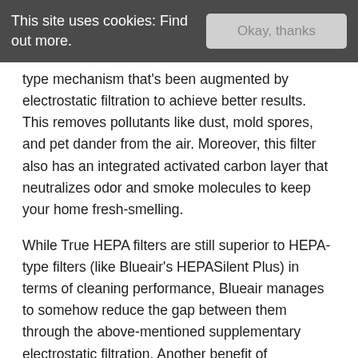This site uses cookies: Find out more.   Okay, thanks
type mechanism that's been augmented by electrostatic filtration to achieve better results. This removes pollutants like dust, mold spores, and pet dander from the air. Moreover, this filter also has an integrated activated carbon layer that neutralizes odor and smoke molecules to keep your home fresh-smelling.
While True HEPA filters are still superior to HEPA-type filters (like Blueair's HEPASilent Plus) in terms of cleaning performance, Blueair manages to somehow reduce the gap between them through the above-mentioned supplementary electrostatic filtration. Another benefit of electrostatic charge-reliant mechanical filters is they're able to operate more quietly than their True HEPA counterparts. So, if you